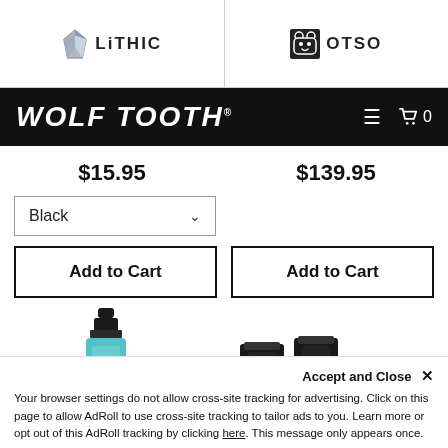[Figure (logo): Lithic brand logo with diamond/crystal icon and text 'LITHIC']
[Figure (logo): OTSO brand logo with bear icon and text 'OTSO']
WOLF TOOTH
$15.95
$139.95
Black
Add to Cart
Add to Cart
[Figure (photo): Product photos: a blue/teal liquid bottle with black cap on left, two black tube packages on right]
Accept and Close ✕
Your browser settings do not allow cross-site tracking for advertising. Click on this page to allow AdRoll to use cross-site tracking to tailor ads to you. Learn more or opt out of this AdRoll tracking by clicking here. This message only appears once.